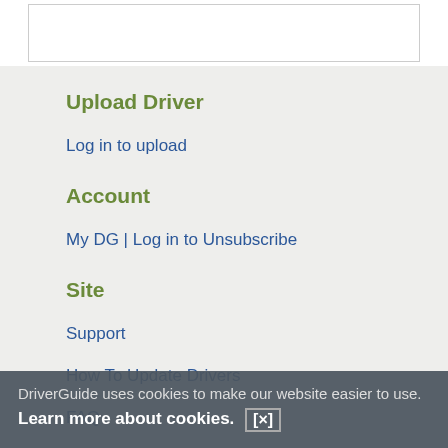Upload Driver
Log in to upload
Account
My DG | Log in to Unsubscribe
Site
Support
How To Update Drivers
FAQ
About Us
Overview
Contact Us
DriverGuide uses cookies to make our website easier to use. Learn more about cookies. [×]